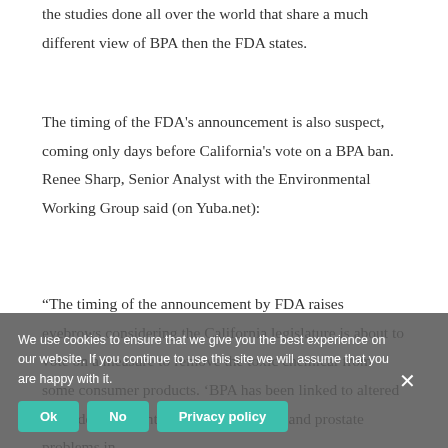the studies done all over the world that share a much different view of BPA then the FDA states.
The timing of the FDA's announcement is also suspect, coming only days before California's vote on a BPA ban. Renee Sharp, Senior Analyst with the Environmental Working Group said (on Yuba.net):
“The timing of the announcement by FDA raises eyebrows considering the California legislature is about to vote on a measure to remove the toxic chemical from some consumer products. 'BPA has been linked to altered brain development, behavioral changes and prostate problems in
We use cookies to ensure that we give you the best experience on our website. If you continue to use this site we will assume that you are happy with it.